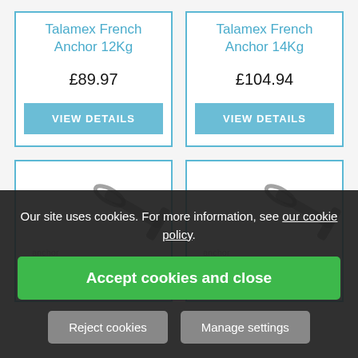Talamex French Anchor 12Kg
£89.97
VIEW DETAILS
Talamex French Anchor 14Kg
£104.94
VIEW DETAILS
[Figure (photo): Partial anchor image - Talamex French Anchor bottom row left]
[Figure (photo): Partial anchor image - Talamex French Anchor bottom row right]
Our site uses cookies. For more information, see our cookie policy.
Accept cookies and close
Reject cookies
Manage settings